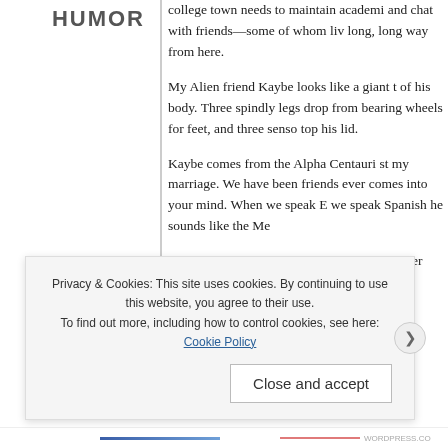HUMOR
college town needs to maintain academi… and chat with friends—some of whom liv… long, long way from here.
My Alien friend Kaybe looks like a giant t… of his body. Three spindly legs drop from… bearing wheels for feet, and three senso… top his lid.
Kaybe comes from the Alpha Centauri st… my marriage. We have been friends ever… comes into your mind. When we speak E… we speak Spanish he sounds like the Me…
There are a variety of cosmic characters… Finger Fanny, Henny the Hulk (about who…
Privacy & Cookies: This site uses cookies. By continuing to use this website, you agree to their use.
To find out more, including how to control cookies, see here: Cookie Policy
Close and accept